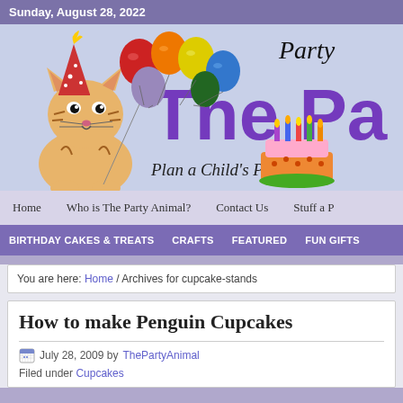Sunday, August 28, 2022
[Figure (illustration): Website banner for 'The Party Animal' blog showing a cartoon tiger cat with a party hat holding colorful balloons, a birthday cake with candles, large purple text 'The Pa...' and subtitle 'Plan a Child's Party tha...' with 'Party' written in handwriting style at top right]
Home | Who is The Party Animal? | Contact Us | Stuff a P...
BIRTHDAY CAKES & TREATS | CRAFTS | FEATURED | FUN GIFTS
You are here: Home / Archives for cupcake-stands
How to make Penguin Cupcakes
July 28, 2009 by ThePartyAnimal
Filed under Cupcakes